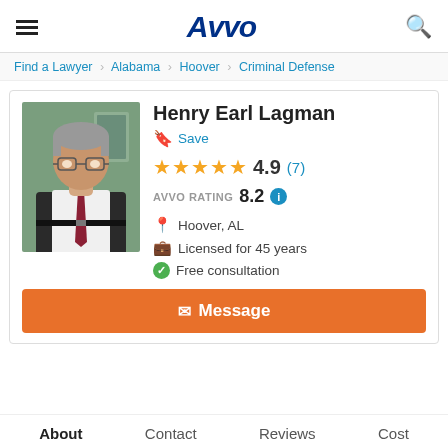Avvo
Find a Lawyer > Alabama > Hoover > Criminal Defense
Henry Earl Lagman
Save
4.9 (7)
AVVO RATING 8.2
Hoover, AL
Licensed for 45 years
Free consultation
Message
About   Contact   Reviews   Cost